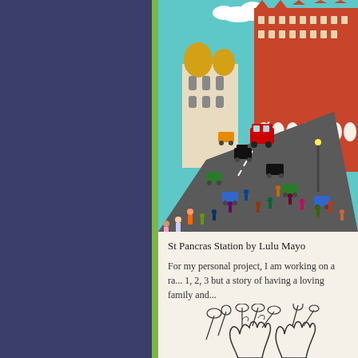[Figure (illustration): Colorful illustrated scene of St Pancras Station with red brick building, busy street with cars, buses, people, and a church with golden domes]
St Pancras Station by Lulu Mayo
For my personal project, I am working on a ra... 1, 2, 3 but a story of having a loving family and...
[Figure (illustration): Black and white line drawing of flowers and hands at the bottom of the page]